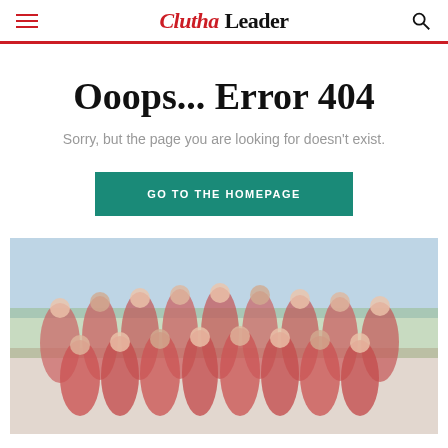Clutha Leader
Ooops... Error 404
Sorry, but the page you are looking for doesn't exist.
GO TO THE HOMEPAGE
[Figure (photo): Group photo of a sports team wearing red uniforms, standing outdoors on a sports field]